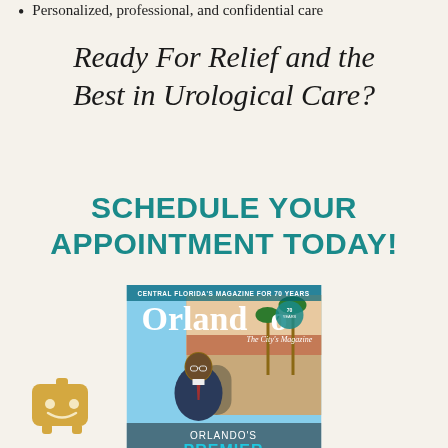Personalized, professional, and confidential care
Ready For Relief and the Best in Urological Care?
SCHEDULE YOUR APPOINTMENT TODAY!
[Figure (photo): Orlando The City's Magazine cover featuring a man in a suit standing in front of a building, with text 'CENTRAL FLORIDA'S MAGAZINE FOR 70 YEARS', 'Orlando', 'The City's Magazine', 'ORLANDO'S PREMIER']
[Figure (illustration): Small golden/amber chatbot icon with a smiley face]